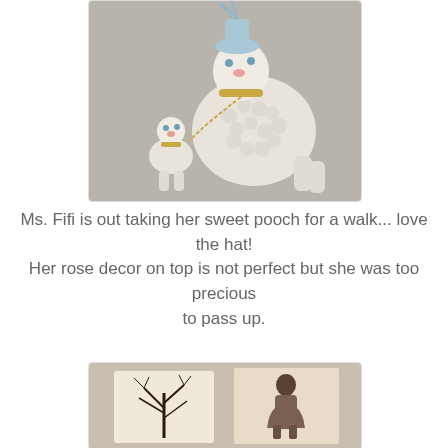[Figure (photo): Ceramic poodle figurines — a large white textured poodle wearing a blue hat and gold collar holding a chain leash, with a smaller white poodle puppy figurine seated beside it, on a gray background.]
Ms. Fifi is out taking her sweet pooch for a walk... love the hat!
Her rose decor on top is not perfect but she was too precious to pass up.
[Figure (photo): Two vintage sepia-toned photographs overlapping — one showing a bare tree silhouette, the other showing a person in period clothing standing outdoors.]